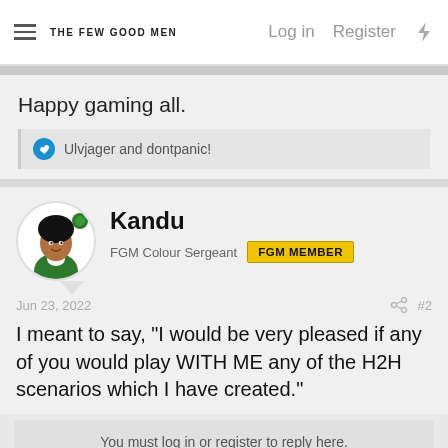THE FEW GOOD MEN — Log in  Register
Happy gaming all.
Ulvjager and dontpanic!
Kandu
FGM Colour Sergeant  FGM MEMBER
Jun 23, 2022  #2
I meant to say, "I would be very pleased if any of you would play WITH ME any of the H2H scenarios which I have created."
You must log in or register to reply here.
Share: